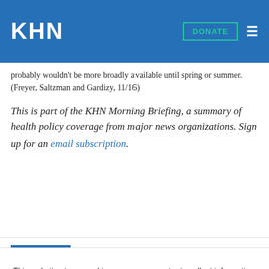KHN
probably wouldn't be more broadly available until spring or summer. (Freyer, Saltzman and Gardizy, 11/16)
This is part of the KHN Morning Briefing, a summary of health policy coverage from major news organizations. Sign up for an email subscription.
This website stores cookies on your computer to collect information about how you interact with our website. We use this information in order to improve and customize your browsing experience and for analytics and metrics about our visitors both on this website and other media. To find out more about the cookies we use, see our Privacy Policy.